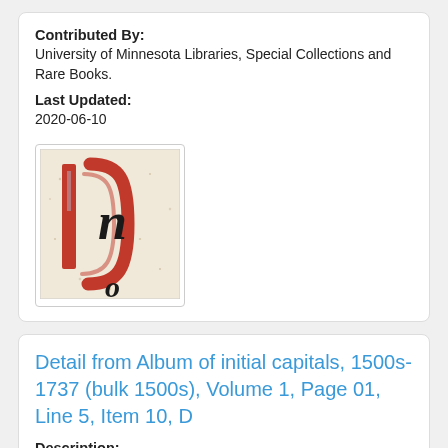Contributed By: University of Minnesota Libraries, Special Collections and Rare Books.
Last Updated: 2020-06-10
[Figure (photo): Thumbnail image of a medieval illuminated initial letter, showing a red decorative capital letter with black gothic lettering on aged parchment background.]
Detail from Album of initial capitals, 1500s-1737 (bulk 1500s), Volume 1, Page 01, Line 5, Item 10, D
Description: The letter D is handwritten in red ink.